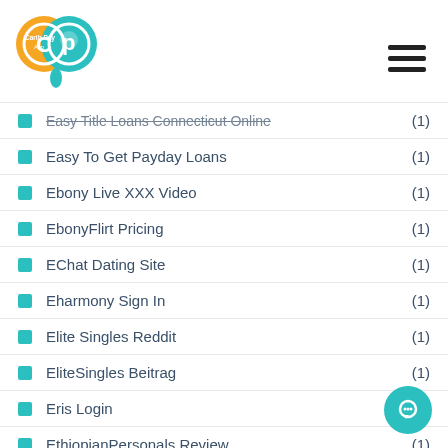Carib Pay App logo and hamburger menu
Easy Title Loans Connecticut Online (1)
Easy To Get Payday Loans (1)
Ebony Live XXX Video (1)
EbonyFlirt Pricing (1)
EChat Dating Site (1)
Eharmony Sign In (1)
Elite Singles Reddit (1)
EliteSingles Beitrag (1)
Eris Login (1)
EthiopianPersonals Review (1)
Eurosinglesdating.Com Dating-Sites-Online- (1)